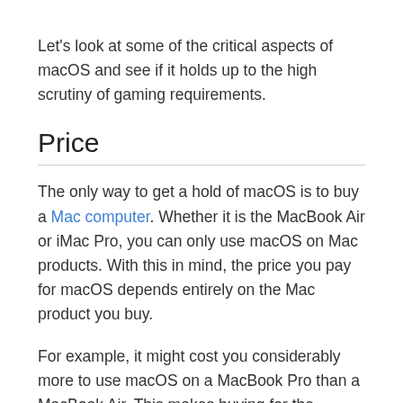Let's look at some of the critical aspects of macOS and see if it holds up to the high scrutiny of gaming requirements.
Price
The only way to get a hold of macOS is to buy a Mac computer. Whether it is the MacBook Air or iMac Pro, you can only use macOS on Mac products. With this in mind, the price you pay for macOS depends entirely on the Mac product you buy.
For example, it might cost you considerably more to use macOS on a MacBook Pro than a MacBook Air. This makes buying for the operating system a